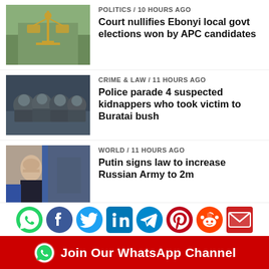POLITICS / 10 hours ago — Court nullifies Ebonyi local govt elections won by APC candidates
CRIME & LAW / 11 hours ago — Police parade 4 suspected kidnappers who took victim to Buratai bush
WORLD / 11 hours ago — Putin signs law to increase Russian Army to 2m
FCT NEWS / 11 hours ago — Military uncovers 2 terrorists' camps in Abuja
[Figure (infographic): Social media share icons: WhatsApp, Facebook, Twitter, LinkedIn, Telegram, Pinterest, Reddit, Email]
[Figure (infographic): Red banner with WhatsApp logo and text: Join Our WhatsApp Channel]